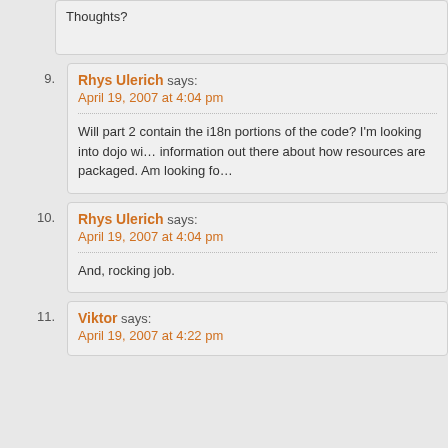Thoughts?
9. Rhys Ulerich says: April 19, 2007 at 4:04 pm — Will part 2 contain the i18n portions of the code? I'm looking into dojo wi... information out there about how resources are packaged. Am looking fo...
10. Rhys Ulerich says: April 19, 2007 at 4:04 pm — And, rocking job.
11. Viktor says: April 19, 2007 at 4:22 pm